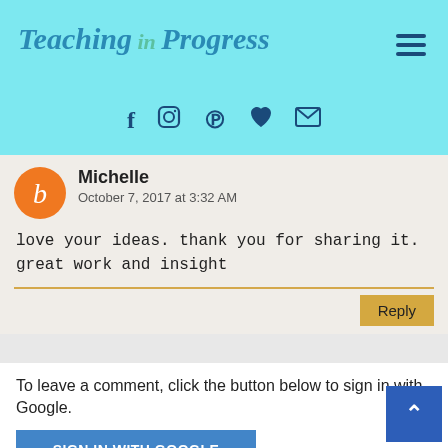[Figure (logo): Teaching in Progress blog logo in teal/blue italic script font]
[Figure (infographic): Social media icons: Facebook, Instagram, Pinterest, heart/Bloglovin, envelope/email in dark blue]
Michelle
October 7, 2017 at 3:32 AM
love your ideas. thank you for sharing it. great work and insight
Reply
To leave a comment, click the button below to sign in with Google.
SIGN IN WITH GOOGLE